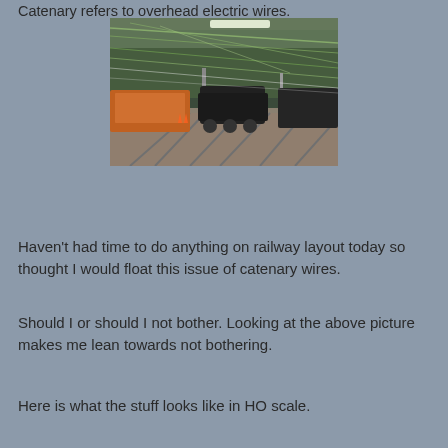Catenary refers to overhead electric wires.
[Figure (photo): Model train yard photo showing HO scale trains on multiple tracks with overhead catenary wires visible, taken inside a building. Orange and black locomotives are visible.]
Haven't had time to do anything on railway layout today so thought I would float this issue of catenary wires.
Should I or should I not bother. Looking at the above picture makes me lean towards not bothering.
Here is what the stuff looks like in HO scale.